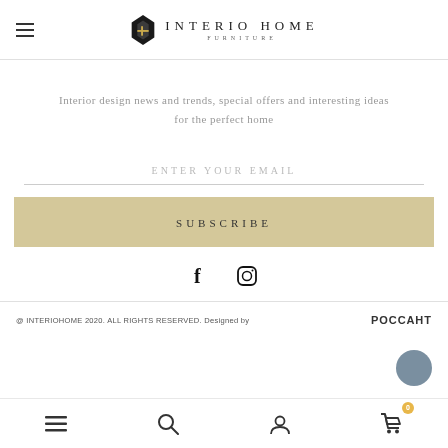[Figure (logo): Interio Home Furniture logo with diamond-shaped icon and stylized text]
Interior design news and trends, special offers and interesting ideas for the perfect home
ENTER YOUR EMAIL
SUBSCRIBE
[Figure (infographic): Facebook and Instagram social media icons]
@ INTERIOHOME 2020. ALL RIGHTS RESERVED. Designed by РОССАНТ